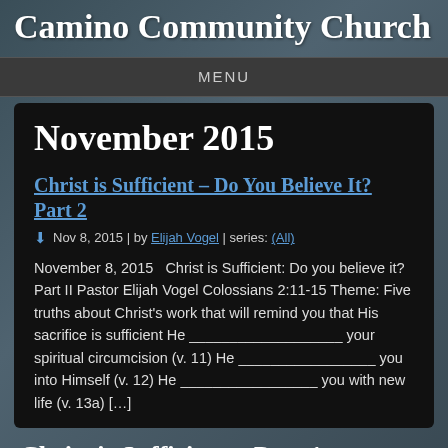Camino Community Church
MENU
November 2015
Christ is Sufficient – Do You Believe It? Part 2
Nov 8, 2015 | by Elijah Vogel | series: (All)
November 8, 2015   Christ is Sufficient: Do you believe it? Part II Pastor Elijah Vogel Colossians 2:11-15 Theme: Five truths about Christ's work that will remind you that His sacrifice is sufficient He ___________________ your spiritual circumcision (v. 11) He _________________ you into Himself (v. 12) He _________________ you with new life (v. 13a) […]
Christ is Sufficient – Part 1